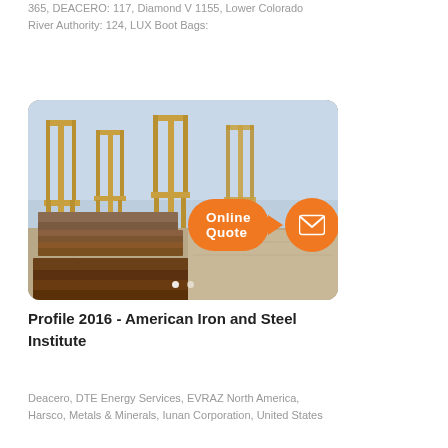365, DEACERO: 117, Diamond V 1155, Lower Colorado River Authority: 124, LUX Boot Bags:
[Figure (photo): Industrial steel yard with stacked steel plates/sheets on the ground and large orange gantry cranes in the background. An orange 'Online Quote' speech bubble button and an orange email icon circle are overlaid on the image.]
Profile 2016 - American Iron and Steel Institute
Deacero, DTE Energy Services, EVRAZ North America, Harsco, Metals & Minerals, Iunan Corporation, United States